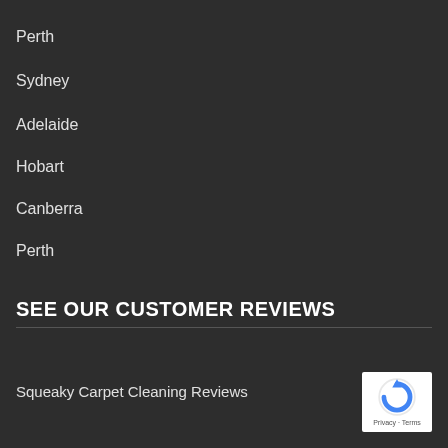Perth
Sydney
Adelaide
Hobart
Canberra
Perth
SEE OUR CUSTOMER REVIEWS
Squeaky Carpet Cleaning Reviews
[Figure (logo): reCAPTCHA badge with Privacy and Terms links]